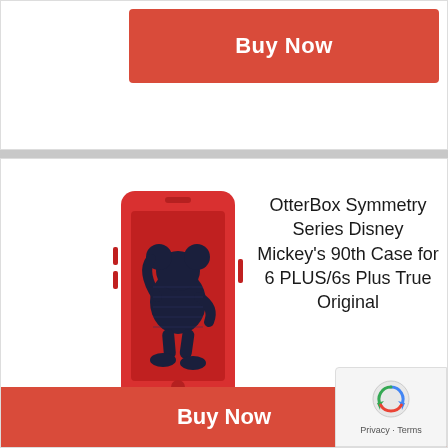Buy Now
OtterBox Symmetry Series Disney Mickey's 90th Case for 6 PLUS/6s Plus True Original
[Figure (donut-chart): Score]
Buy Now